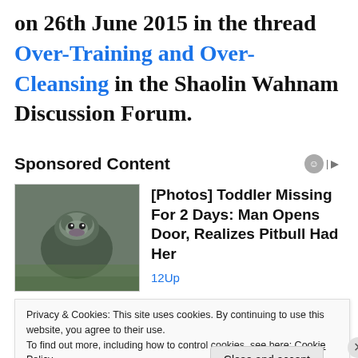on 26th June 2015 in the thread Over-Training and Over-Cleansing in the Shaolin Wahnam Discussion Forum.
Sponsored Content
[Figure (photo): Photo of a pitbull dog standing on grass]
[Photos] Toddler Missing For 2 Days: Man Opens Door, Realizes Pitbull Had Her
12Up
Privacy & Cookies: This site uses cookies. By continuing to use this website, you agree to their use.
To find out more, including how to control cookies, see here: Cookie Policy
Close and accept